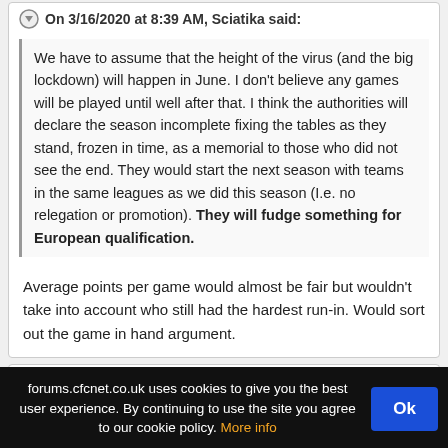On 3/16/2020 at 8:39 AM, Sciatika said:
We have to assume that the height of the virus (and the big lockdown) will happen in June. I don't believe any games will be played until well after that. I think the authorities will declare the season incomplete fixing the tables as they stand, frozen in time, as a memorial to those who did not see the end. They would start the next season with teams in the same leagues as we did this season (I.e. no relegation or promotion). They will fudge something for European qualification.
Average points per game would almost be fair but wouldn't take into account who still had the hardest run-in. Would sort out the game in hand argument.
JoneP
forums.cfcnet.co.uk uses cookies to give you the best user experience. By continuing to use the site you agree to our cookie policy. More info